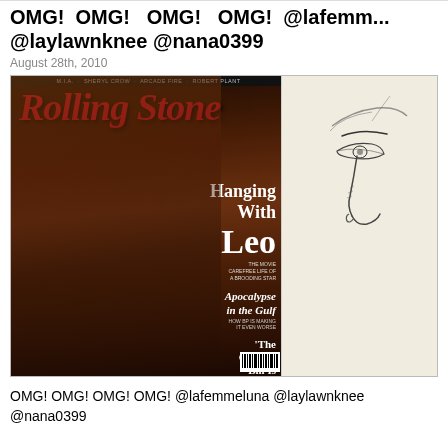OMG! OMG! OMG! OMG! @lafemmeluna @laylawnknee @nana0399
August 28th, 2010
[Figure (photo): A Rolling Stone magazine cover featuring 'Hanging With Leo' headline alongside a pencil sketch of a face profile on the right side. The magazine cover shows a man's face in dramatic warm lighting with articles about Apocalypse in the Gulf, The Climate Bill Is Dead, and Inside Lady Gaga's Sexy Tour.]
OMG! OMG! OMG! OMG! @lafemmeluna @laylawnknee @nana0399